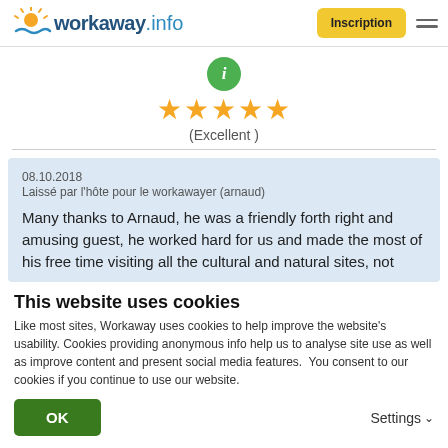workaway.info | Inscription
[Figure (illustration): Green circle info icon]
★★★★★
(Excellent )
08.10.2018
Laissé par l'hôte pour le workawayer (arnaud)

Many thanks to Arnaud, he was a friendly forth right and amusing guest, he worked hard for us and made the most of his free time visiting all the cultural and natural sites, not
This website uses cookies
Like most sites, Workaway uses cookies to help improve the website's usability. Cookies providing anonymous info help us to analyse site use as well as improve content and present social media features.  You consent to our cookies if you continue to use our website.
OK
Settings ∨